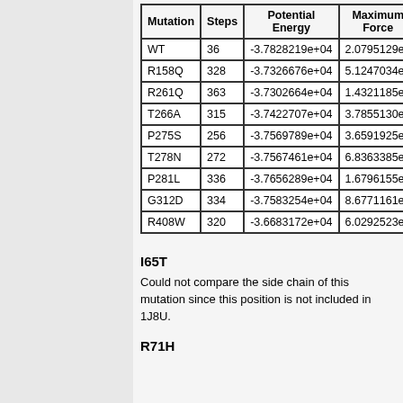| Mutation | Steps | Potential Energy | Maximum Force |
| --- | --- | --- | --- |
| WT | 36 | -3.7828219e+04 | 2.0795129e+… |
| R158Q | 328 | -3.7326676e+04 | 5.1247034e+… |
| R261Q | 363 | -3.7302664e+04 | 1.4321185e+… |
| T266A | 315 | -3.7422707e+04 | 3.7855130e+… |
| P275S | 256 | -3.7569789e+04 | 3.6591925e+… |
| T278N | 272 | -3.7567461e+04 | 6.8363385e+… |
| P281L | 336 | -3.7656289e+04 | 1.6796155e+… |
| G312D | 334 | -3.7583254e+04 | 8.6771161e+… |
| R408W | 320 | -3.6683172e+04 | 6.0292523e+… |
I65T
Could not compare the side chain of this mutation since this position is not included in 1J8U.
R71H